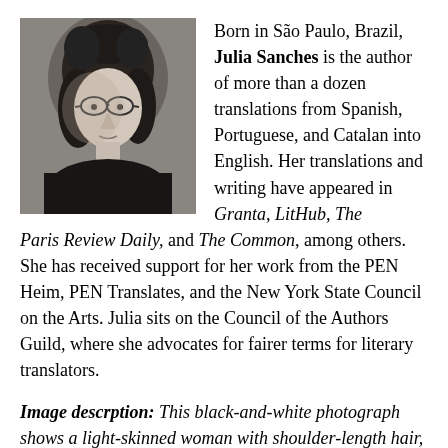[Figure (photo): Black-and-white portrait photograph of Julia Sanches, a light-skinned woman with shoulder-length curly hair and tortoise-shell glasses, wearing a dark top.]
Born in São Paulo, Brazil, Julia Sanches is the author of more than a dozen translations from Spanish, Portuguese, and Catalan into English. Her translations and writing have appeared in Granta, LitHub, The Paris Review Daily, and The Common, among others. She has received support for her work from the PEN Heim, PEN Translates, and the New York State Council on the Arts. Julia sits on the Council of the Authors Guild, where she advocates for fairer terms for literary translators.
Image descrption: This black-and-white photograph shows a light-skinned woman with shoulder-length hair, tortoise-shell glasses, and bronze cicada earrings. She is